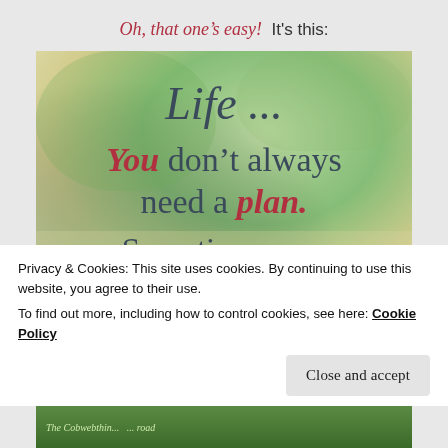Oh, that one's easy!  It's this:
[Figure (illustration): Motivational quote image with green and beige textured background. Text reads: 'Life ... You don't always need a plan. Sometimes you just need to' (cut off). 'You' and 'plan.' are in red italic, rest in dark grayish-blue serif.]
Privacy & Cookies: This site uses cookies. By continuing to use this website, you agree to their use.
To find out more, including how to control cookies, see here: Cookie Policy
Close and accept